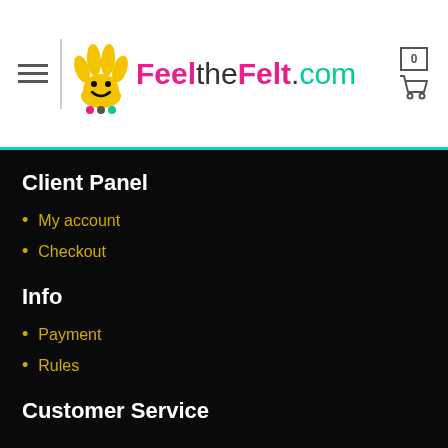FeeltheFelt.com — navigation header with logo and cart
Client Panel
My account
Checkout
Info
Payment
Rules
Customer Service